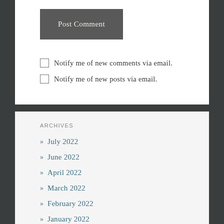Post Comment
Notify me of new comments via email.
Notify me of new posts via email.
ARCHIVES
July 2022
June 2022
April 2022
March 2022
February 2022
January 2022
December 2021